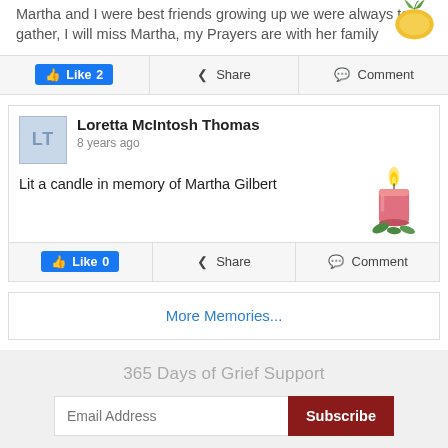Martha and I were best friends growing up we were always to gather, I will miss Martha, my Prayers are with her family
Like 2  Share  Comment
Loretta McIntosh Thomas
8 years ago
Lit a candle in memory of Martha Gilbert
Like 0  Share  Comment
More Memories...
365 Days of Grief Support
Email Address  Subscribe